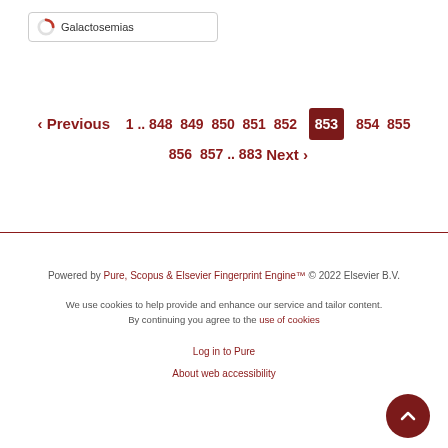[Figure (screenshot): Search box with spinner icon and text 'Galactosemias']
‹ Previous  1 .. 848  849  850  851  852  853  854  855  856  857 .. 883  Next ›
Powered by Pure, Scopus & Elsevier Fingerprint Engine™ © 2022 Elsevier B.V.
We use cookies to help provide and enhance our service and tailor content. By continuing you agree to the use of cookies
Log in to Pure
About web accessibility